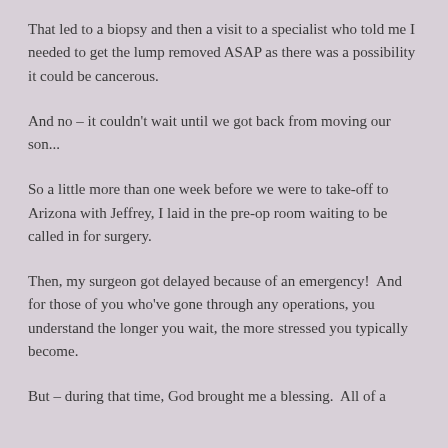That led to a biopsy and then a visit to a specialist who told me I needed to get the lump removed ASAP as there was a possibility it could be cancerous.
And no – it couldn't wait until we got back from moving our son...
So a little more than one week before we were to take-off to Arizona with Jeffrey, I laid in the pre-op room waiting to be called in for surgery.
Then, my surgeon got delayed because of an emergency!  And for those of you who've gone through any operations, you understand the longer you wait, the more stressed you typically become.
But – during that time, God brought me a blessing.  All of a